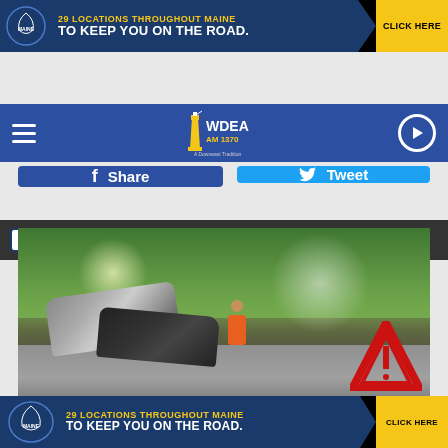[Figure (infographic): Top advertisement banner: 29 LOCATIONS THROUGHOUT MAINE TO KEEP YOU ON THE ROAD. CLICK HERE with blue background and yellow arrow]
[Figure (logo): WDEA AM 1370 A Downeast Tradition radio station logo in navigation bar]
LISTEN NOW ▶  ROD TANNER
f  Share
🐦  Tweet
[Figure (photo): Car accident scene on a road surrounded by trees. Two crashed cars visible with a person in orange safety vest standing nearby and a red warning triangle in the foreground.]
[Figure (infographic): Bottom advertisement banner: 29 LOCATIONS THROUGHOUT MAINE TO KEEP YOU ON THE ROAD. CLICK HERE with blue background and yellow arrow]